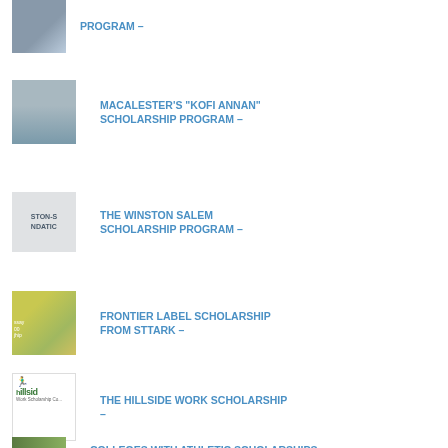PROGRAM –
MACALESTER'S “KOFI ANNAN” SCHOLARSHIP PROGRAM –
THE WINSTON SALEM SCHOLARSHIP PROGRAM –
FRONTIER LABEL SCHOLARSHIP FROM STTARK –
THE HILLSIDE WORK SCHOLARSHIP –
Colleges With Athletic Scholarships